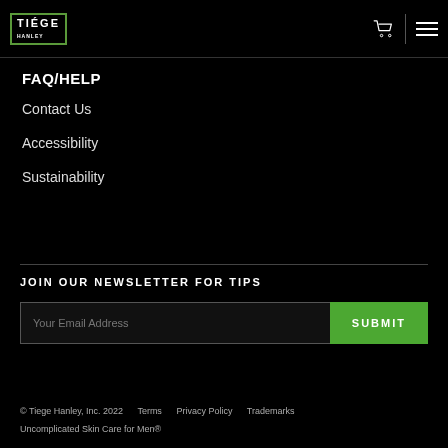[Figure (logo): Tiege Hanley logo in green-bordered box]
FAQ/HELP
Contact Us
Accessibility
Sustainability
JOIN OUR NEWSLETTER FOR TIPS
Your Email Address  SUBMIT
© Tiege Hanley, Inc. 2022    Terms    Privacy Policy    Trademarks
Uncomplicated Skin Care for Men®